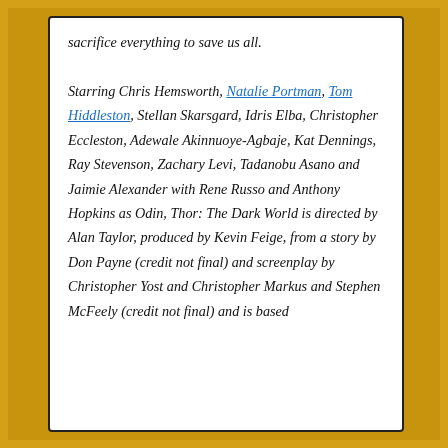sacrifice everything to save us all.

Starring Chris Hemsworth, Natalie Portman, Tom Hiddleston, Stellan Skarsgard, Idris Elba, Christopher Eccleston, Adewale Akinnuoye-Agbaje, Kat Dennings, Ray Stevenson, Zachary Levi, Tadanobu Asano and Jaimie Alexander with Rene Russo and Anthony Hopkins as Odin, Thor: The Dark World is directed by Alan Taylor, produced by Kevin Feige, from a story by Don Payne (credit not final) and screenplay by Christopher Yost and Christopher Markus and Stephen McFeely (credit not final) and is based